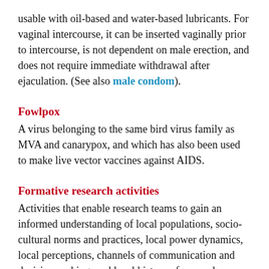usable with oil-based and water-based lubricants. For vaginal intercourse, it can be inserted vaginally prior to intercourse, is not dependent on male erection, and does not require immediate withdrawal after ejaculation. (See also male condom).
Fowlpox
A virus belonging to the same bird virus family as MVA and canarypox, and which has also been used to make live vector vaccines against AIDS.
Formative research activities
Activities that enable research teams to gain an informed understanding of local populations, socio-cultural norms and practices, local power dynamics, local perceptions, channels of communication and decision-making, and local history of research, as well as the needs and priorities of people locally affected by or able to influence a clinical trial. Formative research activities usually